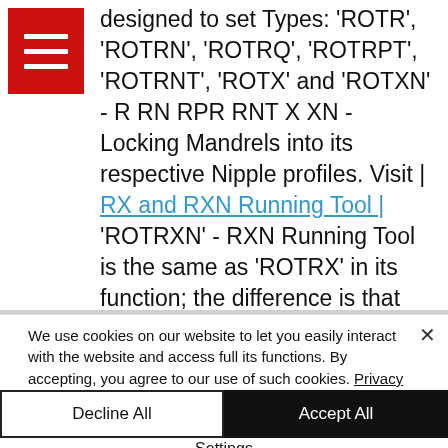designed to set Types: 'ROTR', 'ROTRN', 'ROTRQ', 'ROTRPT', 'ROTRNT', 'ROTX' and 'ROTXN' - R RN RPR RNT X XN - Locking Mandrels into its respective Nipple profiles. Visit | RX and RXN Running Tool | 'ROTRXN' - RXN Running Tool is the same as 'ROTRX' in its function; the difference is that
We use cookies on our website to let you easily interact with the website and access full its functions. By accepting, you agree to our use of such cookies. Privacy Policy
Decline All
Accept All
Settings